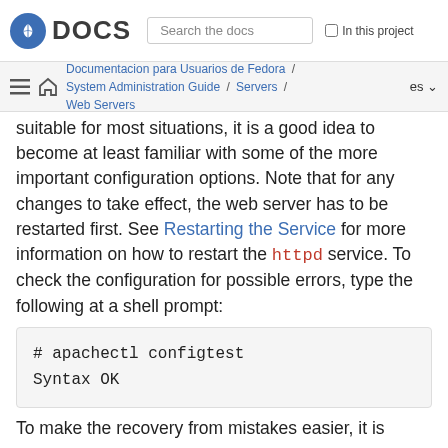DOCS | Search the docs | In this project
Documentacion para Usuarios de Fedora / System Administration Guide / Servers / Web Servers | es
suitable for most situations, it is a good idea to become at least familiar with some of the more important configuration options. Note that for any changes to take effect, the web server has to be restarted first. See Restarting the Service for more information on how to restart the httpd service. To check the configuration for possible errors, type the following at a shell prompt:
# apachectl configtest
Syntax OK
To make the recovery from mistakes easier, it is